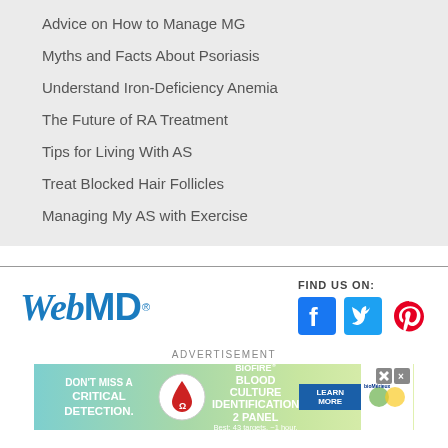Advice on How to Manage MG
Myths and Facts About Psoriasis
Understand Iron-Deficiency Anemia
The Future of RA Treatment
Tips for Living With AS
Treat Blocked Hair Follicles
Managing My AS with Exercise
[Figure (logo): WebMD logo in blue italic and bold text]
FIND US ON:
[Figure (other): Social media icons: Facebook, Twitter, Pinterest]
ADVERTISEMENT
[Figure (other): BioFire Blood Culture Identification 2 Panel advertisement banner with teal/green gradient background, blood drop icon, LEARN MORE button, and bioMérieux logo]